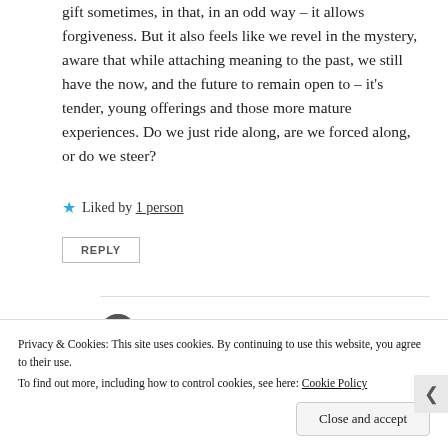gift sometimes, in that, in an odd way – it allows forgiveness. But it also feels like we revel in the mystery, aware that while attaching meaning to the past, we still have the now, and the future to remain open to – it's tender, young offerings and those more mature experiences. Do we just ride along, are we forced along, or do we steer?
★ Liked by 1 person
REPLY
Watt
May 20, 2019 at 5:21 pm
Privacy & Cookies: This site uses cookies. By continuing to use this website, you agree to their use. To find out more, including how to control cookies, see here: Cookie Policy
Close and accept